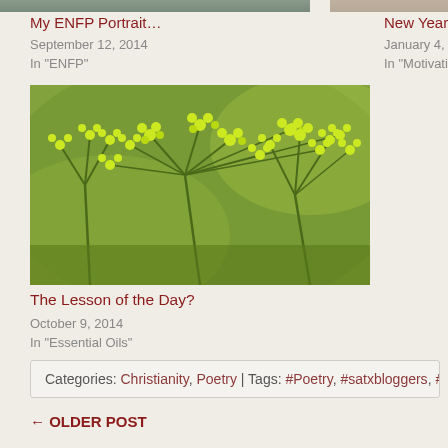[Figure (photo): Partial view of two blog post thumbnail images at the top of the page — left shows a person in a striped shirt, right shows a warm-toned background]
My ENFP Portrait…
September 12, 2014
In "ENFP"
New Year, Sa…
January 4, 202…
In "Motivationa…
[Figure (photo): Close-up photo of yellow-green fennel or dill flowers (umbels) against a blurred green background]
The Lesson of the Day?
October 9, 2014
In "Essential Oils"
Categories: Christianity, Poetry | Tags: #Poetry, #satxbloggers, #Th…
← OLDER POST